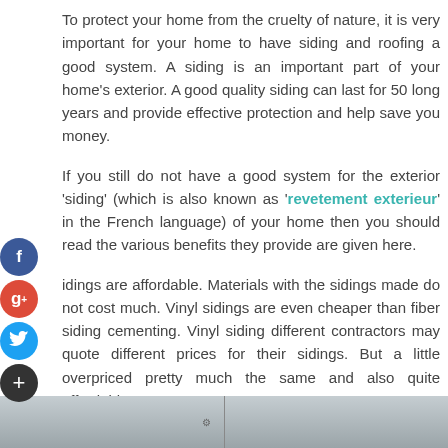To protect your home from the cruelty of nature, it is very important for your home to have siding and roofing a good system. A siding is an important part of your home's exterior. A good quality siding can last for 50 long years and provide effective protection and help save you money.
If you still do not have a good system for the exterior 'siding' (which is also known as 'revetement exterieur' in the French language) of your home then you should read the various benefits they provide are given here.
Sidings are affordable. Materials with the sidings made do not cost much. Vinyl sidings are even cheaper than fiber siding cementing. Vinyl siding different contractors may quote different prices for their sidings. But a little overpriced pretty much the same and also quite affordable.
[Figure (photo): A partial image strip at the bottom of the page, appearing to be a grey/muted photo of a building exterior or siding, with a vertical dividing line in the center.]